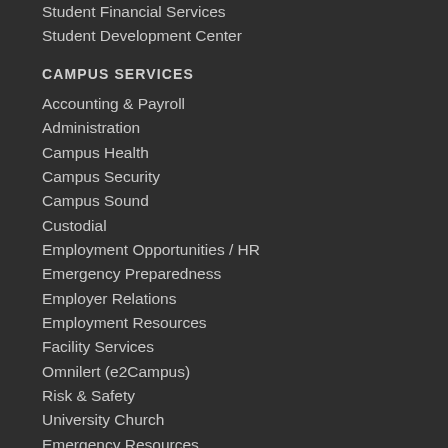Student Financial Services
Student Development Center
CAMPUS SERVICES
Accounting & Payroll
Administration
Campus Health
Campus Security
Campus Sound
Custodial
Employment Opportunities / HR
Emergency Preparedness
Employer Relations
Employment Resources
Facility Services
Omnilert (e2Campus)
Risk & Safety
University Church
Emergency Resources